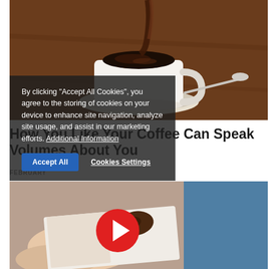[Figure (photo): Coffee being poured into a white cup on a saucer with a spoon, on a wooden table]
By clicking "Accept All Cookies", you agree to the storing of cookies on your device to enhance site navigation, analyze site usage, and assist in our marketing efforts. Additional Information
How You Like Your Coffee Can Speak Volumes About You
FEBRUARY
[Figure (photo): Hands reading a magazine, with another image of an ocean or pool, and a red play button overlay]